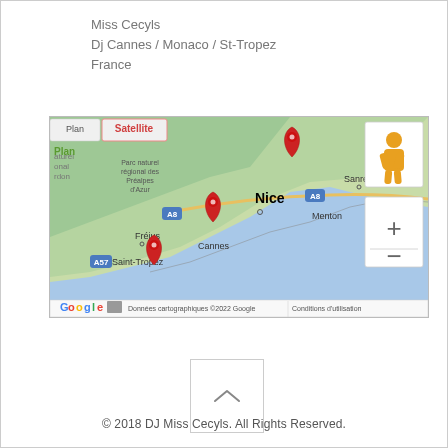Miss Cecyls
Dj Cannes / Monaco / St-Tropez
France
[Figure (map): Google Map showing the French Riviera region with red location pins at St-Tropez, Cannes, and Monaco/Menton area. Map labels include Nice, Menton, Cannes, Saint-Tropez, Fréjus, Sanremo, Imperia, Parc naturel régional des Préalpes d'Azur, and route A8. Map attribution reads: Données cartographiques ©2022 Google | Conditions d'utilisation]
[Figure (other): Square button with an upward-pointing chevron (^) arrow for scrolling to top]
© 2018 DJ Miss Cecyls. All Rights Reserved.